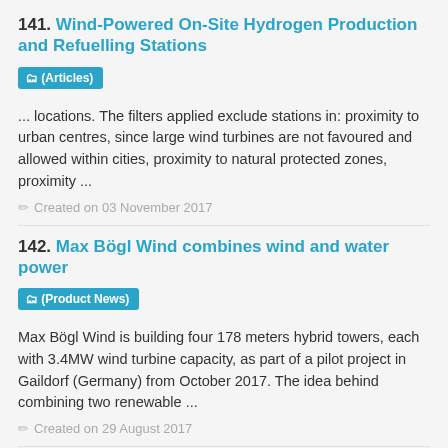141. Wind-Powered On-Site Hydrogen Production and Refuelling Stations
(Articles)
... locations. The filters applied exclude stations in: proximity to urban centres, since large wind turbines are not favoured and allowed within cities, proximity to natural protected zones, proximity ...
Created on 03 November 2017
142. Max Bögl Wind combines wind and water power
(Product News)
Max Bögl Wind is building four 178 meters hybrid towers, each with 3.4MW wind turbine capacity, as part of a pilot project in Gaildorf (Germany) from October 2017. The idea behind combining two renewable ...
Created on 29 August 2017
143.